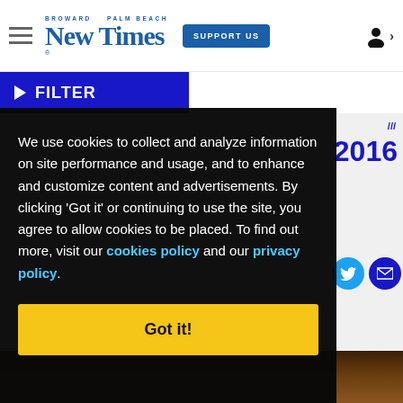Broward Palm Beach New Times — Support Us
FILTER
We use cookies to collect and analyze information on site performance and usage, and to enhance and customize content and advertisements. By clicking 'Got it' or continuing to use the site, you agree to allow cookies to be placed. To find out more, visit our cookies policy and our privacy policy.
Got it!